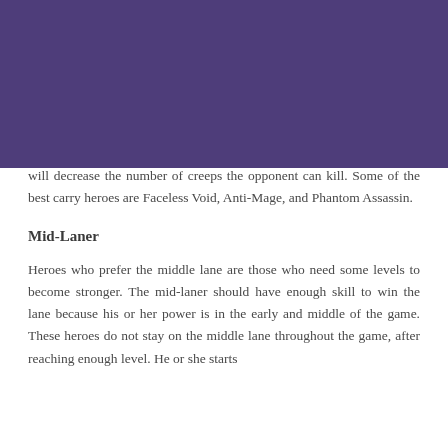[Figure (illustration): Purple/violet banner image at the top of the page]
will decrease the number of creeps the opponent can kill. Some of the best carry heroes are Faceless Void, Anti-Mage, and Phantom Assassin.
Mid-Laner
Heroes who prefer the middle lane are those who need some levels to become stronger. The mid-laner should have enough skill to win the lane because his or her power is in the early and middle of the game. These heroes do not stay on the middle lane throughout the game, after reaching enough level. He or she starts